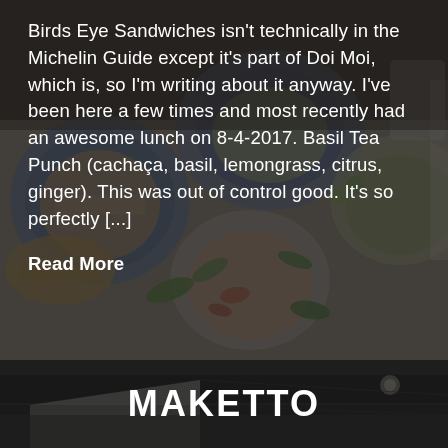[Figure (photo): Overhead photo of Asian food bowls and plates with various dishes including noodle bowls, sandwiches, and vegetables on a white table, with a dark semi-transparent overlay]
Birds Eye Sandwiches isn't technically in the Michelin Guide except it's part of Doi Moi, which is, so I'm writing about it anyway. I've been here a few times and most recently had an awesome lunch on 8-4-2017. Basil Tea Punch (cachaça, basil, lemongrass, citrus, ginger). This was out of control good. It's so perfectly [...]
Read More
[Figure (photo): Interior photo of a modern restaurant or market space with dark ceiling and architectural elements, partially visible]
MAKETTO